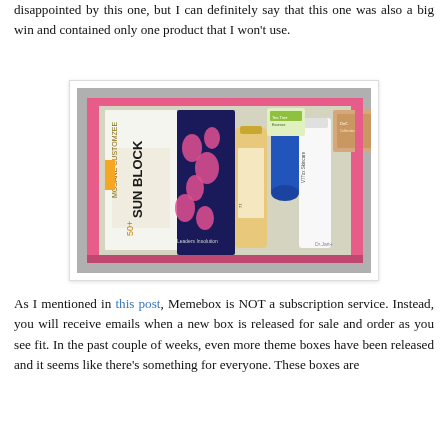disappointed by this one, but I can definitely say that this one was also a big win and contained only one product that I won't use.
[Figure (photo): A pink box (Memebox) opened to reveal several Korean beauty products including a Sun Block SPF 50+ box, a navy and pink patterned pouch, a cream tube, a V7 Dr. Jart serum, a blue cylindrical product, and a tan/orange square box. Products are neatly arranged inside the pink-lined box.]
As I mentioned in this post, Memebox is NOT a subscription service. Instead, you will receive emails when a new box is released for sale and order as you see fit. In the past couple of weeks, even more theme boxes have been released and it seems like there's something for everyone. These boxes are